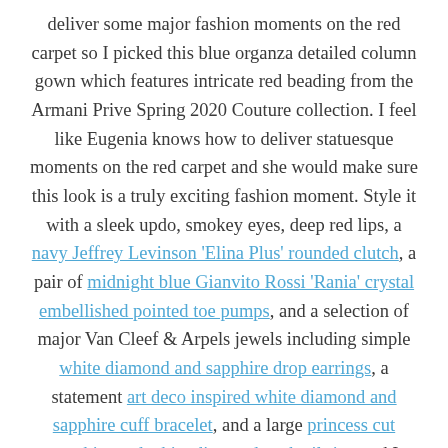deliver some major fashion moments on the red carpet so I picked this blue organza detailed column gown which features intricate red beading from the Armani Prive Spring 2020 Couture collection. I feel like Eugenia knows how to deliver statuesque moments on the red carpet and she would make sure this look is a truly exciting fashion moment. Style it with a sleek updo, smokey eyes, deep red lips, a navy Jeffrey Levinson 'Elina Plus' rounded clutch, a pair of midnight blue Gianvito Rossi 'Rania' crystal embellished pointed toe pumps, and a selection of major Van Cleef & Arpels jewels including simple white diamond and sapphire drop earrings, a statement art deco inspired white diamond and sapphire cuff bracelet, and a large princess cut sapphire and white diamond cocktail ring and I know that Eugenia would slink down the red